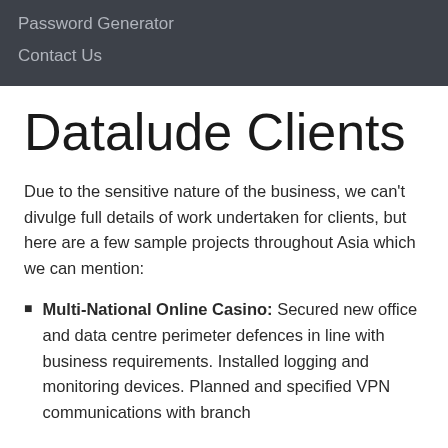Password Generator
Contact Us
Datalude Clients
Due to the sensitive nature of the business, we can't divulge full details of work undertaken for clients, but here are a few sample projects throughout Asia which we can mention:
Multi-National Online Casino: Secured new office and data centre perimeter defences in line with business requirements. Installed logging and monitoring devices. Planned and specified VPN communications with branch